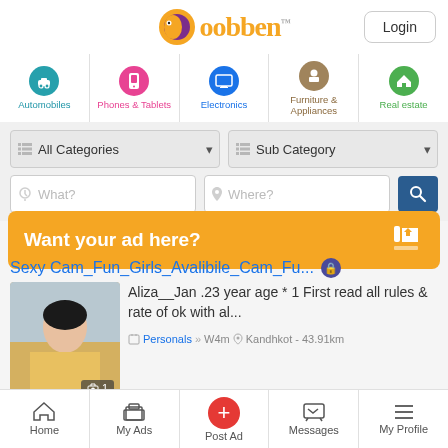[Figure (logo): Oobben logo with fish icon and orange/purple text, Login button top right]
[Figure (infographic): Navigation categories: Automobiles, Phones & Tablets, Electronics, Furniture & Appliances, Real estate with circular icons]
[Figure (screenshot): Search bar with All Categories dropdown, Sub Category dropdown, What? and Where? input fields, and search button]
[Figure (infographic): Orange banner: Want your ad here? with thumbs up icon]
Sexy Cam_Fun_Girls_Avalibile_Cam_Fu...
Aliza__Jan .23 year age * 1 First read all rules & rate of ok with al...
Personals » W4m  Kandhkot - 43.91km
[Figure (screenshot): Bottom navigation bar with Home, My Ads, Post Ad, Messages, My Profile]